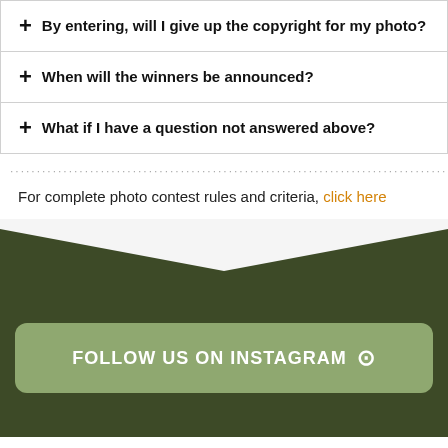+ By entering, will I give up the copyright for my photo?
+ When will the winners be announced?
+ What if I have a question not answered above?
For complete photo contest rules and criteria, click here
[Figure (other): Dark olive green footer section with a white chevron/arrow shape pointing downward at the top, and an Instagram follow button in muted green.]